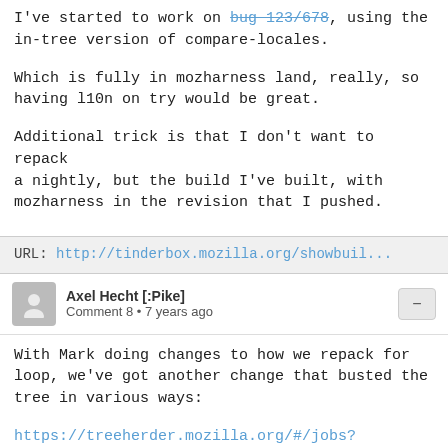I've started to work on bug 123/678, using the in-tree version of compare-locales.
Which is fully in mozharness land, really, so having l10n on try would be great.
Additional trick is that I don't want to repack a nightly, but the build I've built, with mozharness in the revision that I pushed.
URL: http://tinderbox.mozilla.org/showbuil...
Axel Hecht [:Pike]
Comment 8 • 7 years ago
With Mark doing changes to how we repack for loop, we've got another change that busted the tree in various ways:
https://treeherder.mozilla.org/#/jobs?repo=mozilla-